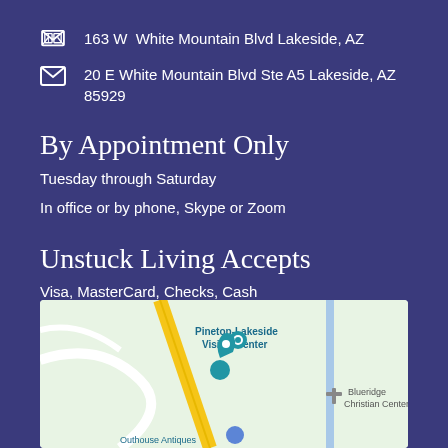163 W  White Mountain Blvd Lakeside, AZ
20 E White Mountain Blvd Ste A5 Lakeside, AZ 85929
By Appointment Only
Tuesday through Saturday
In office or by phone, Skype or Zoom
Unstuck Living Accepts
Visa, MasterCard, Checks, Cash
[Figure (map): Google Maps view showing Pinetop-Lakeside area with Pinetop-Lakeside Visitor Center, Blueridge Christian Center, and Outhouse Antiques labels visible]